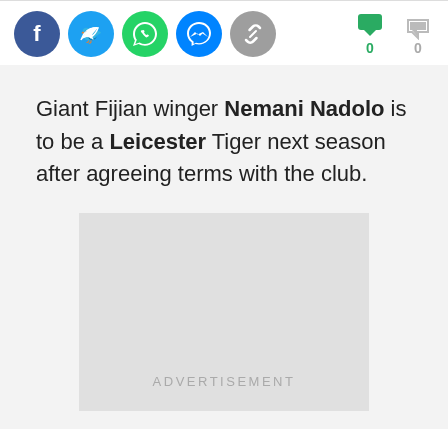[Figure (other): Social media share icons: Facebook, Twitter, WhatsApp, Messenger, Link/Copy, and vote buttons with green thumbs-down showing 0 and grey thumbs-up showing 0]
Giant Fijian winger Nemani Nadolo is to be a Leicester Tiger next season after agreeing terms with the club.
[Figure (other): Advertisement placeholder box with text ADVERTISEMENT]